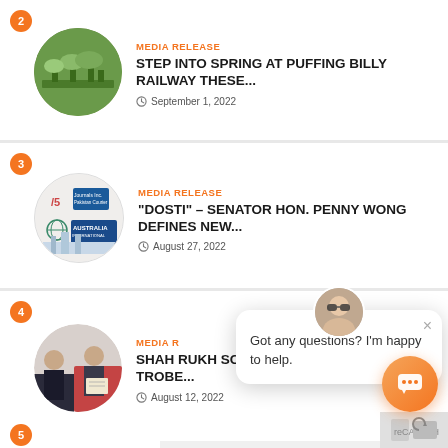[Figure (screenshot): Article listing item 2: STEP INTO SPRING AT PUFFING BILLY RAILWAY THESE... - September 1, 2022 - circular thumbnail of green railway bridge]
MEDIA RELEASE
STEP INTO SPRING AT PUFFING BILLY RAILWAY THESE...
September 1, 2022
[Figure (screenshot): Article listing item 3: "DOSTI" – SENATOR HON. PENNY WONG DEFINES NEW... - August 27, 2022 - circular thumbnail with Australia International logos]
MEDIA RELEASE
"DOSTI" – SENATOR HON. PENNY WONG DEFINES NEW...
August 27, 2022
[Figure (screenshot): Article listing item 4: SHAH RUKH SCHOLARSHIP RETURNS TO LA TROBE... - August 12, 2022 - circular thumbnail of event/ceremony]
MEDIA RELEASE
SHAH RUKH SCHOLARSHIP RETURNS TO LA TROBE...
August 12, 2022
Got any questions? I'm happy to help.